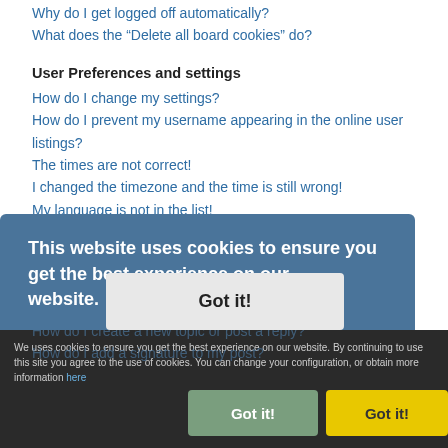Why do I get logged off automatically?
What does the “Delete all board cookies” do?
User Preferences and settings
How do I change my settings?
How do I prevent my username appearing in the online user listings?
The times are not correct!
I changed the timezone and the time is still wrong!
My language is not in the list!
What are the images next to my username?
How do I display an avatar?
What is my rank and how do I change it?
When I click the email link for a user it asks me to login?
Posting Issues
How do I create a new topic or post a reply?
How do I add a signature to my post?
This website uses cookies to ensure you get the best experience on our website. Learn more
Got it!
We uses cookies to ensure you get the best experience on our website. By continuing to use this site you agree to the use of cookies. You can change your configuration, or obtain more information here
Got it!